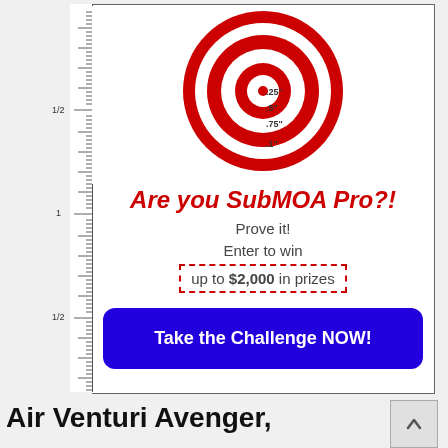[Figure (illustration): Concentric circle shooting target with MOA measurements labeled: .25", .5", .75", .1". Red and white rings with a ruler/scale on the left side.]
Are you SubMOA Pro?!
Prove it!
Enter to win
up to $2,000 in prizes
Take the Challenge NOW!
Air Venturi Avenger,